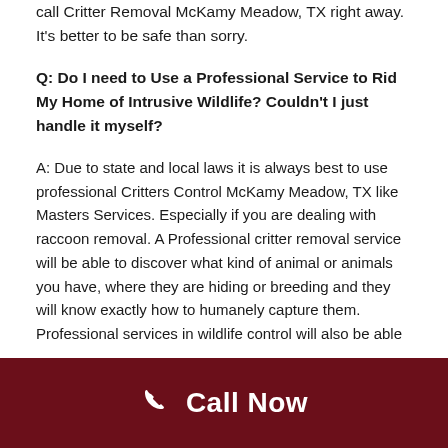call Critter Removal McKamy Meadow, TX right away. It's better to be safe than sorry.
Q: Do I need to Use a Professional Service to Rid My Home of Intrusive Wildlife? Couldn't I just handle it myself?
A: Due to state and local laws it is always best to use professional Critters Control McKamy Meadow, TX like Masters Services. Especially if you are dealing with raccoon removal. A Professional critter removal service will be able to discover what kind of animal or animals you have, where they are hiding or breeding and they will know exactly how to humanely capture them. Professional services in wildlife control will also be able to...
Call Now